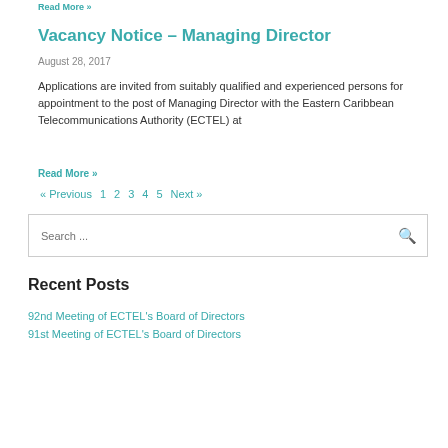Read More »
Vacancy Notice – Managing Director
August 28, 2017
Applications are invited from suitably qualified and experienced persons for appointment to the post of Managing Director with the Eastern Caribbean Telecommunications Authority (ECTEL) at
Read More »
« Previous  1  2  3  4  5  Next »
Search ...
Recent Posts
92nd Meeting of ECTEL's Board of Directors
91st Meeting of ECTEL's Board of Directors